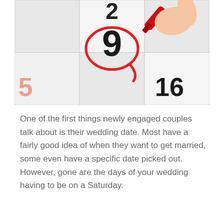[Figure (photo): Close-up photo of a calendar with a hand holding a red marker circling the number 9. Numbers 2 and 16 are also visible on the calendar grid.]
One of the first things newly engaged couples talk about is their wedding date. Most have a fairly good idea of when they want to get married, some even have a specific date picked out. However, gone are the days of your wedding having to be on a Saturday.